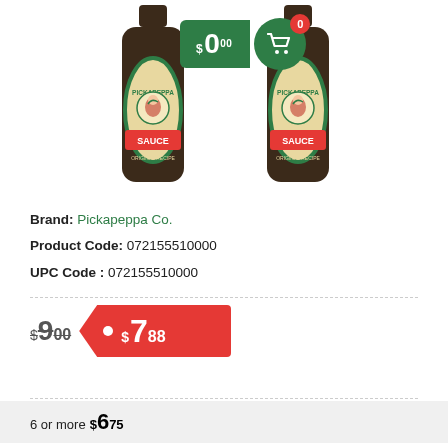[Figure (photo): Two dark glass bottles of Pickapeppa Sauce side by side, with green and cream labels featuring a bird illustration, with a green '$0.00' cart button overlay in the upper center]
Brand: Pickapeppa Co.
Product Code: 072155510000
UPC Code : 072155510000
$9.00  $7.88
6 or more $6.75